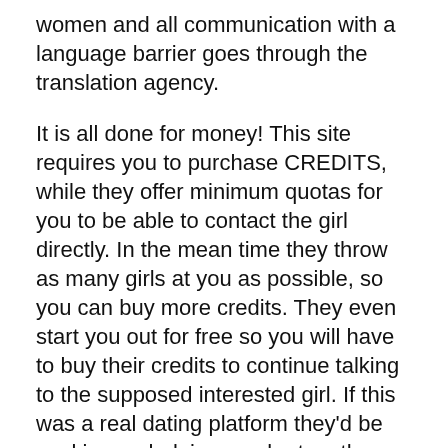women and all communication with a language barrier goes through the translation agency.
It is all done for money! This site requires you to purchase CREDITS, while they offer minimum quotas for you to be able to contact the girl directly. In the mean time they throw as many girls at you as possible, so you can buy more credits. They even start you out for free so you will have to buy their credits to continue talking to the supposed interested girl. If this was a real dating platform they'd be working on helping you be together with your match! Ripping you off while you buy credits for months, and not allowing private contact outside of the website points towards scam!